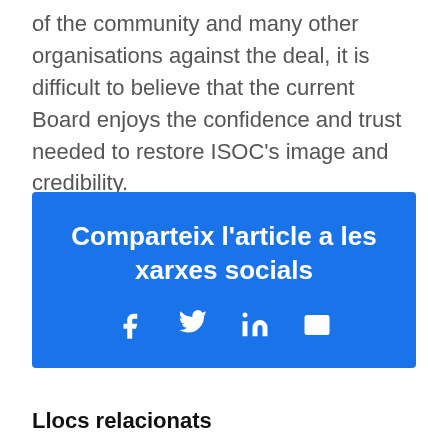of the community and many other organisations against the deal, it is difficult to believe that the current Board enjoys the confidence and trust needed to restore ISOC's image and credibility.
[Figure (infographic): Blue social sharing box with title 'Comparteix l'article a les xarxes socials' and icons for Facebook, Twitter, LinkedIn, and email.]
Llocs relacionats